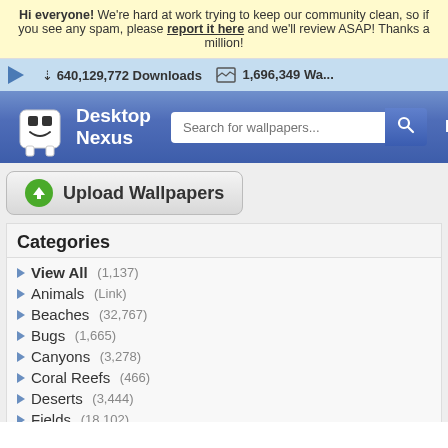Hi everyone! We're hard at work trying to keep our community clean, so if you see any spam, please report it here and we'll review ASAP! Thanks a million!
640,129,772 Downloads   1,696,349 Wa...
[Figure (screenshot): Desktop Nexus website header with logo (mascot character), search bar 'Search for wallpapers...', and Home navigation link]
[Figure (other): Upload Wallpapers button with green circle up arrow]
Categories
View All (1,137)
Animals (Link)
Beaches (32,767)
Bugs (1,665)
Canyons (3,278)
Coral Reefs (466)
Deserts (3,444)
Fields (18,102)
Flowers (32,767)
Forces of Nature (8,683)
Forests (31,738)
Grass (3,796)
Greenroofs (318)
Lakes (32,767)
Mountains (32,767)